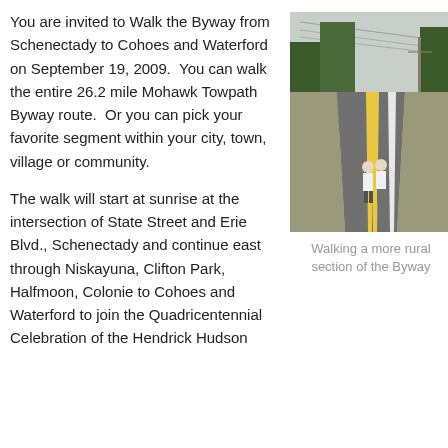You are invited to Walk the Byway from Schenectady to Cohoes and Waterford on September 19, 2009.  You can walk the entire 26.2 mile Mohawk Towpath Byway route.  Or you can pick your favorite segment within your city, town, village or community.
The walk will start at sunrise at the intersection of State Street and Erie Blvd., Schenectady and continue east through Niskayuna, Clifton Park, Halfmoon, Colonie to Cohoes and Waterford to join the Quadricentennial Celebration of the Hendrick Hudson
[Figure (photo): Two people walking on a rural road lined with trees and power lines, viewed from behind. The road curves to the left.]
Walking a more rural section of the Byway